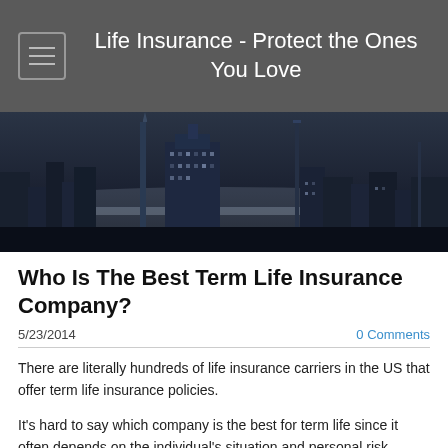Life Insurance - Protect the Ones You Love
[Figure (photo): Black and white night cityscape with skyscrapers and city lights on the horizon]
Who Is The Best Term Life Insurance Company?
5/23/2014
0 Comments
There are literally hundreds of life insurance carriers in the US that offer term life insurance policies.
It's hard to say which company is the best for term life since it often depends on the individual's situation and personal risk factors; such